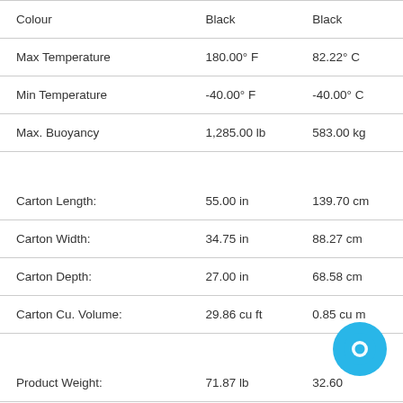| Colour | Black | Black |
| Max Temperature | 180.00° F | 82.22° C |
| Min Temperature | -40.00° F | -40.00° C |
| Max. Buoyancy | 1,285.00 lb | 583.00 kg |
| Carton Length: | 55.00 in | 139.70 cm |
| Carton Width: | 34.75 in | 88.27 cm |
| Carton Depth: | 27.00 in | 68.58 cm |
| Carton Cu. Volume: | 29.86 cu ft | 0.85 cu m |
| Product Weight: | 71.87 lb | 32.60 kg |
| Shipping Weight: | 78.08 lb | 35.42 kg |